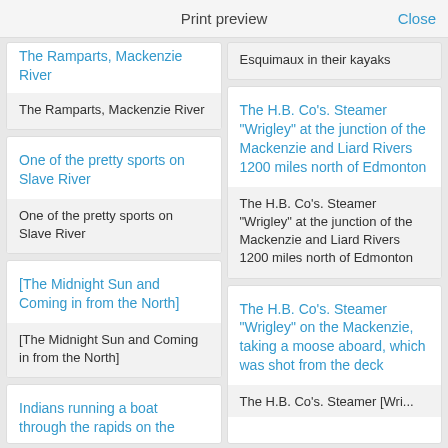Print preview
Close
The Ramparts, Mackenzie River
The Ramparts, Mackenzie River
Esquimaux in their kayaks
One of the pretty sports on Slave River
One of the pretty sports on Slave River
The H.B. Co's. Steamer "Wrigley" at the junction of the Mackenzie and Liard Rivers 1200 miles north of Edmonton
The H.B. Co's. Steamer "Wrigley" at the junction of the Mackenzie and Liard Rivers 1200 miles north of Edmonton
[The Midnight Sun and Coming in from the North]
[The Midnight Sun and Coming in from the North]
The H.B. Co's. Steamer "Wrigley" on the Mackenzie, taking a moose aboard, which was shot from the deck
Indians running a boat through the rapids on the
The H.B. Co's. Steamer [Wrigley]